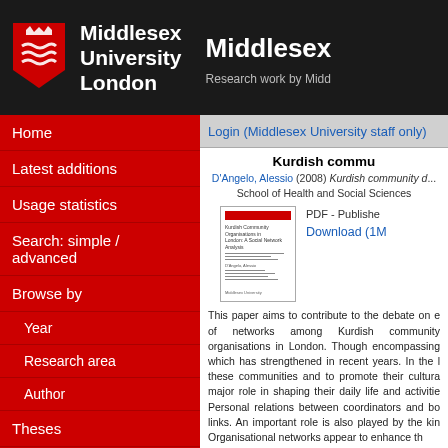Middlesex University London — Research work by Middlesex
Home
Latest additions
Usage statistics
Search: simple / advanced
Browse by
Year
Research area
Author
Theses
Help
How do I add my work?
Repository FAQs
Login (Middlesex University staff only)
Kurdish commu
D'Angelo, Alessio (2008) Kurdish community d... School of Health and Social Sciences
[Figure (other): PDF thumbnail of the Kurdish community document]
PDF - Published
Download (1M
This paper aims to contribute to the debate on e of networks among Kurdish community organisations in London. Though encompassing which has strengthened in recent years. In the l these communities and to promote their cultura major role in shaping their daily life and activitie Personal relations between coordinators and bo links. An important role is also played by the kin Organisational networks appear to enhance th